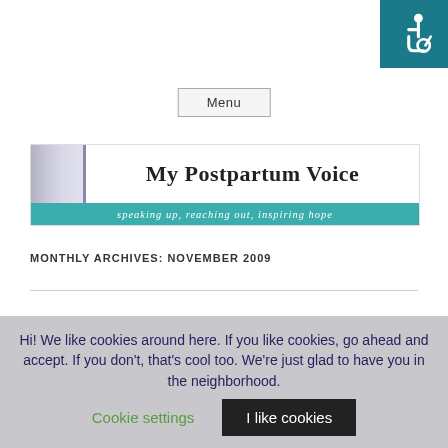[Figure (logo): Accessibility wheelchair icon in teal square, top right corner]
Menu
[Figure (logo): My Postpartum Voice blog banner with tagline: speaking up, reaching out, inspiring hope]
MONTHLY ARCHIVES: NOVEMBER 2009
Doctoral Student survey examining Postpartum depression, attachment style
Hi! We like cookies around here. If you like cookies, go ahead and accept. If you don't, that's cool too. We're just glad to have you in the neighborhood.
Cookie settings
I like cookies